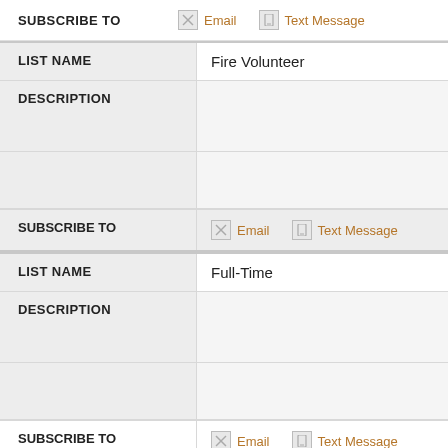SUBSCRIBE TO  Email  Text Message
| LIST NAME | Fire Volunteer |
| --- | --- |
| DESCRIPTION |  |
SUBSCRIBE TO  Email  Text Message
| LIST NAME | Full-Time |
| --- | --- |
| DESCRIPTION |  |
SUBSCRIBE TO  Email  Text Message
| LIST NAME | Police |
| --- | --- |
| DESCRIPTION |  |